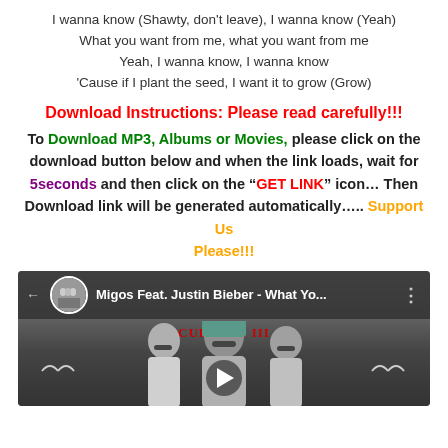I wanna know (Shawty, don't leave), I wanna know (Yeah)
What you want from me, what you want from me
Yeah, I wanna know, I wanna know
'Cause if I plant the seed, I want it to grow (Grow)
Download Instructions: Please read carefully!!!
To Download MP3, Albums or Movies, please click on the download button below and when the link loads, wait for 5seconds and then click on the “GET LINK” icon… Then Download link will be generated automatically….. Support Us Please!!!
[Figure (screenshot): YouTube video player screenshot showing Migos Feat. Justin Bieber - What Yo... with channel icon, three-dot menu, Culture III album art in background with people (Migos members) and birds.]